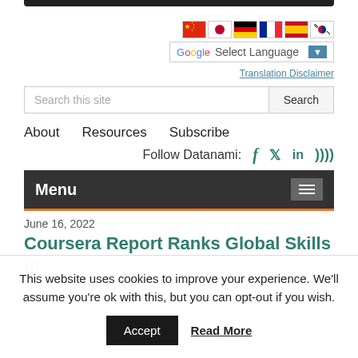[Figure (screenshot): Top navigation bar partial view — black bar at top, country flag icons (China, Japan, Germany, France, Spain, South Korea), Google Translate selector, Translation Disclaimer link, search bar with Search button, About/Resources/Subscribe nav links, Follow Datanami social icons (Facebook, Twitter, LinkedIn, RSS), dark Menu bar with hamburger icon]
June 16, 2022
Coursera Report Ranks Global Skills in
This website uses cookies to improve your experience. We'll assume you're ok with this, but you can opt-out if you wish.
Accept
Read More